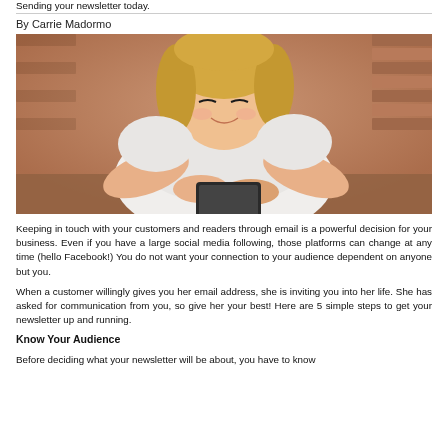Sending your newsletter today.
By Carrie Madormo
[Figure (photo): A smiling blonde woman in a white dress looking down at a smartphone or tablet, leaning on a surface with a brick wall background.]
Keeping in touch with your customers and readers through email is a powerful decision for your business. Even if you have a large social media following, those platforms can change at any time (hello Facebook!) You do not want your connection to your audience dependent on anyone but you.
When a customer willingly gives you her email address, she is inviting you into her life. She has asked for communication from you, so give her your best! Here are 5 simple steps to get your newsletter up and running.
Know Your Audience
Before deciding what your newsletter will be about, you have to know your readers. What are their demographics? How do they look for